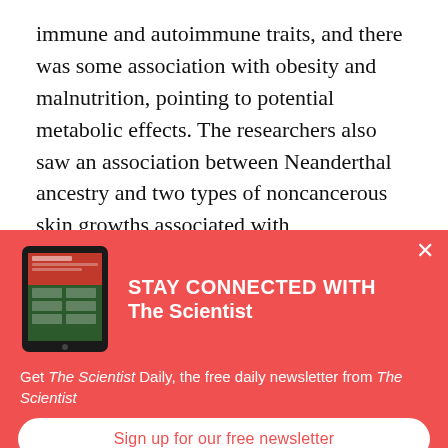immune and autoimmune traits, and there was some association with obesity and malnutrition, pointing to potential metabolic effects. The researchers also saw an association between Neanderthal ancestry and two types of noncancerous skin growths associated with inflammation by action...
[Figure (screenshot): A popup overlay banner with red background showing 'STAY CONNECTED WITH The Scientist' with a tablet device image, description text, and a 'Sign up for our free newsletter' button.]